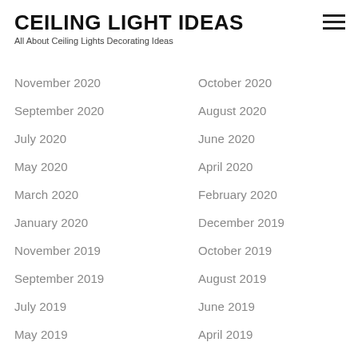CEILING LIGHT IDEAS
All About Ceiling Lights Decorating Ideas
November 2020
October 2020
September 2020
August 2020
July 2020
June 2020
May 2020
April 2020
March 2020
February 2020
January 2020
December 2019
November 2019
October 2019
September 2019
August 2019
July 2019
June 2019
May 2019
April 2019
February 2019
January 2019
December 2018
November 2018